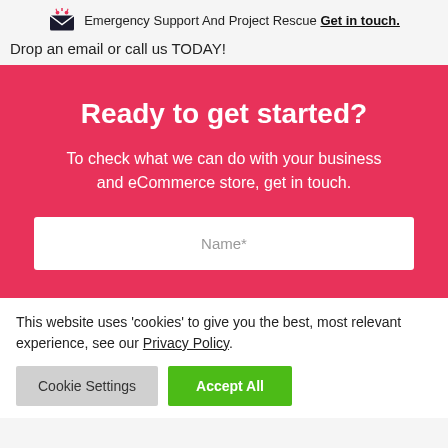Emergency Support And Project Rescue Get in touch.
Drop an email or call us TODAY!
Ready to get started?
To check what we can do with your business and eCommerce store, get in touch.
Name*
This website uses 'cookies' to give you the best, most relevant experience, see our Privacy Policy.
Cookie Settings  Accept All